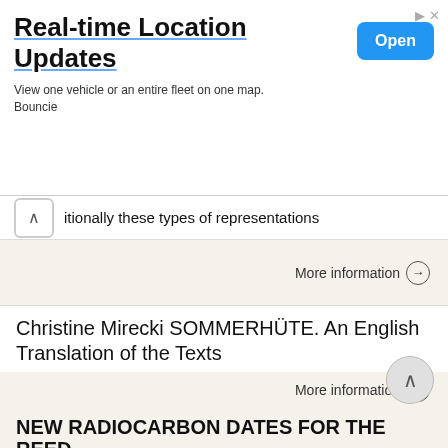[Figure (screenshot): Advertisement banner for 'Real-time Location Updates' by Bouncie with an 'Open' button]
itionally these types of representations
More information →
Christine Mirecki SOMMERHÜTE. An English Translation of the Texts
Christine Mirecki SOMMERHÜTE An English Translation of the Texts Christine Mirecki, Summer Hats English Translation About this Book Those of you who are familiar with my first publications, Farben sind
More information →
NEW RADIOCARBON DATES FOR THE REED